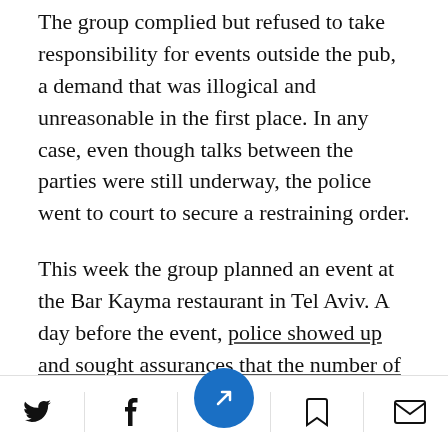The group complied but refused to take responsibility for events outside the pub, a demand that was illogical and unreasonable in the first place. In any case, even though talks between the parties were still underway, the police went to court to secure a restraining order.
This week the group planned an event at the Bar Kayma restaurant in Tel Aviv. A day before the event, police showed up and sought assurances that the number of participants would not exceed the limit stipulated on the eatery's license.
Social share and navigation footer bar